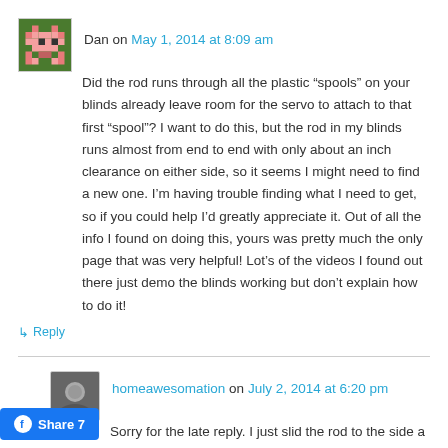Dan on May 1, 2014 at 8:09 am
Did the rod runs through all the plastic “spools” on your blinds already leave room for the servo to attach to that first “spool”? I want to do this, but the rod in my blinds runs almost from end to end with only about an inch clearance on either side, so it seems I might need to find a new one. I’m having trouble finding what I need to get, so if you could help I’d greatly appreciate it. Out of all the info I found on doing this, yours was pretty much the only page that was very helpful! Lot’s of the videos I found out there just demo the blinds working but don’t explain how to do it!
↳ Reply
homeawesomation on July 2, 2014 at 6:20 pm
Sorry for the late reply. I just slid the rod to the side a bit. You could also just cut it a bit shorter.
↳ Reply